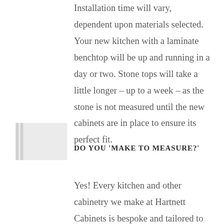Installation time will vary, dependent upon materials selected. Your new kitchen with a laminate benchtop will be up and running in a day or two. Stone tops will take a little longer – up to a week – as the stone is not measured until the new cabinets are in place to ensure its perfect fit.
DO YOU 'MAKE TO MEASURE?'
Yes! Every kitchen and other cabinetry we make at Hartnett Cabinets is bespoke and tailored to our client's exact specifications.